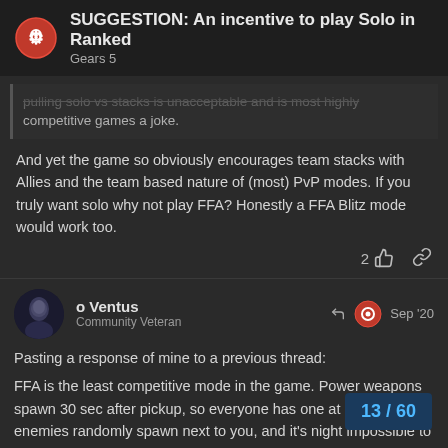SUGGESTION: An incentive to play Solo in Ranked — Gears 5
pulling solo vs stacks is unacceptable and is most highly competitive games a joke.
And yet the game so obviously encourages team stacks with Allies and the team based nature of (most) PvP modes. If you truly want solo why not play FFA? Honestly a FFA Blitz mode would work too.
2 [like] [link]
o Ventus
Community Veteran
Sep '20
Pasting a response of mine to a previous thread:
FFA is the least competitive mode in the game. Power weapons spawn 30 sec after pickup, so everyone has one at all times, enemies randomly spawn next to you, and it's night impossible to engage someone in combat and not be amb people wandering by.
13 / 60